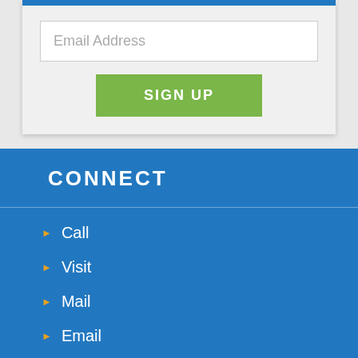Email Address
SIGN UP
CONNECT
Call
Visit
Mail
Email
Catering
[Figure (illustration): Social media icons: Facebook, Twitter, YouTube, Instagram]